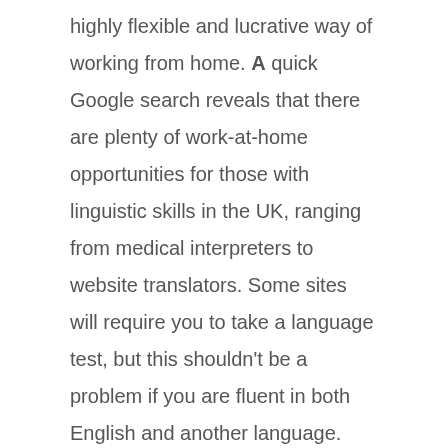highly flexible and lucrative way of working from home. A quick Google search reveals that there are plenty of work-at-home opportunities for those with linguistic skills in the UK, ranging from medical interpreters to website translators. Some sites will require you to take a language test, but this shouldn't be a problem if you are fluent in both English and another language. Salaries vary widely – it is likely, however, that you'll be paid per word. Web Developer: web developers can easily find remote work online. Depending on your skill level,